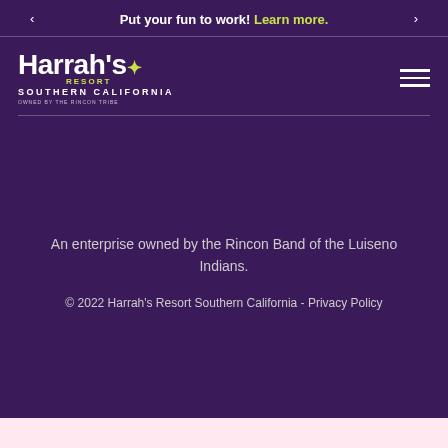Put your fun to work! Learn more.
[Figure (logo): Harrah's Resort Southern California logo - white and lime green text on dark purple background]
An enterprise owned by the Rincon Band of the Luiseno Indians.
© 2022 Harrah's Resort Southern California - Privacy Policy